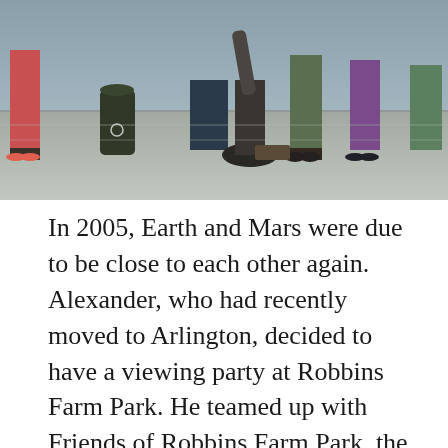[Figure (photo): A group of people gathered around a telescope on a paved outdoor area, viewed from waist-down, with various colored clothing visible.]
In 2005, Earth and Mars were due to be close to each other again. Alexander, who had recently moved to Arlington, decided to have a viewing party at Robbins Farm Park. He teamed up with Friends of Robbins Farm Park, the Arlington Recreation Department, and some locals with telescopes to make it happen. Over the next 2 years, he threw a couple more stargazing parties. Leslie Mayer, a member of the Park & Recreation Commission, suggested that Alexander should